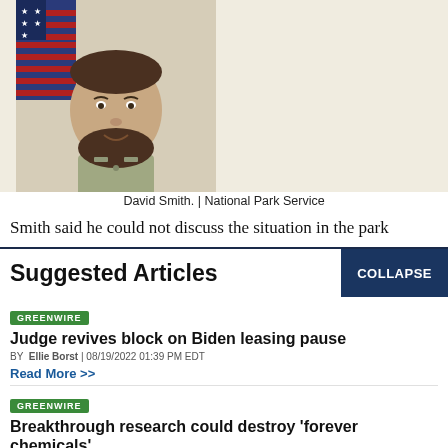[Figure (photo): Headshot of David Smith, a bearded man in a tan/khaki uniform shirt, with an American flag visible in the background. Photo credit: National Park Service.]
David Smith. | National Park Service
Smith said he could not discuss the situation in the park
Suggested Articles
COLLAPSE
GREENWIRE
Judge revives block on Biden leasing pause
BY Ellie Borst | 08/19/2022 01:39 PM EDT
Read More >>
GREENWIRE
Breakthrough research could destroy 'forever chemicals'